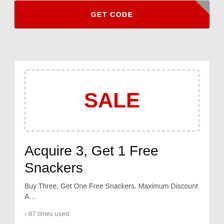[Figure (other): GET CODE button — red button at top of partially visible coupon card]
[Figure (other): Coupon card with dashed border showing SALE label, offer title, description, usage count, and GET CODE button]
SALE
Acquire 3, Get 1 Free Snackers
Buy Three, Get One Free Snackers. Maximum Discount A…
› 87 times used